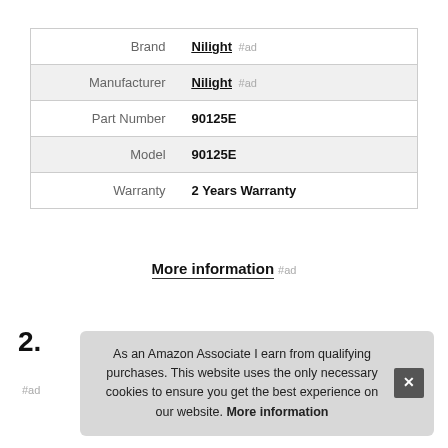|  |  |
| --- | --- |
| Brand | Nilight #ad |
| Manufacturer | Nilight #ad |
| Part Number | 90125E |
| Model | 90125E |
| Warranty | 2 Years Warranty |
More information #ad
2.
As an Amazon Associate I earn from qualifying purchases. This website uses the only necessary cookies to ensure you get the best experience on our website. More information
#ad